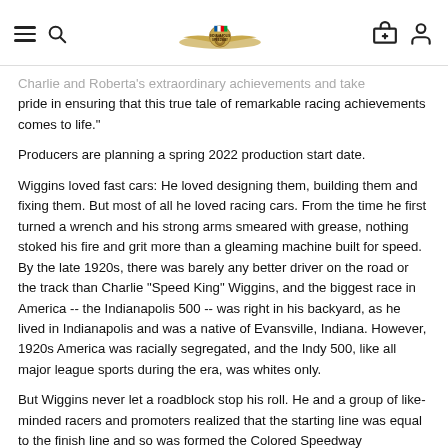Indianapolis Speedway logo, navigation icons
Charlie and Roberta's extraordinary achievements and take pride in ensuring that this true tale of remarkable racing achievements comes to life."
Producers are planning a spring 2022 production start date.
Wiggins loved fast cars: He loved designing them, building them and fixing them. But most of all he loved racing cars. From the time he first turned a wrench and his strong arms smeared with grease, nothing stoked his fire and grit more than a gleaming machine built for speed. By the late 1920s, there was barely any better driver on the road or the track than Charlie "Speed King" Wiggins, and the biggest race in America -- the Indianapolis 500 -- was right in his backyard, as he lived in Indianapolis and was a native of Evansville, Indiana. However, 1920s America was racially segregated, and the Indy 500, like all major league sports during the era, was whites only.
But Wiggins never let a roadblock stop his roll. He and a group of like-minded racers and promoters realized that the starting line was equal to the finish line and so was formed the Colored Speedway Association (CSA) and a rival race to the